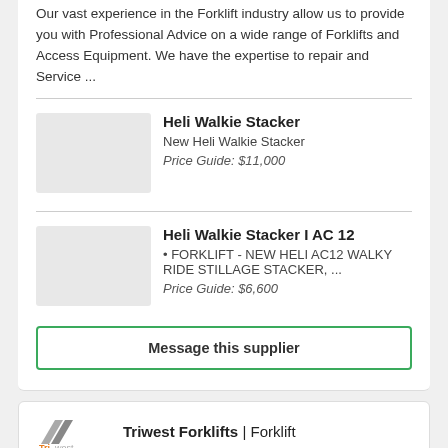Our vast experience in the Forklift industry allow us to provide you with Professional Advice on a wide range of Forklifts and Access Equipment. We have the expertise to repair and Service ...
Heli Walkie Stacker
New Heli Walkie Stacker
Price Guide: $11,000
Heli Walkie Stacker I AC 12
• FORKLIFT - NEW HELI AC12 WALKY RIDE STILLAGE STACKER, ...
Price Guide: $6,600
Message this supplier
Triwest Forklifts | Forklift